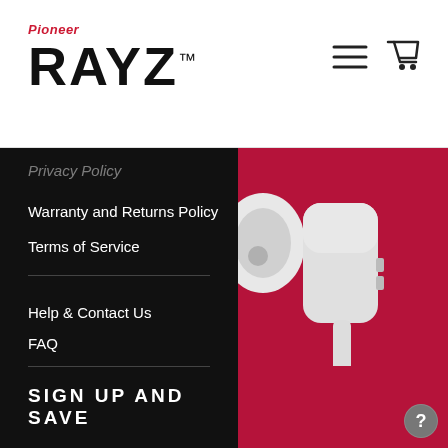[Figure (logo): Pioneer RAYZ logo with red italic Pioneer text above large bold RAYZ™ wordmark]
[Figure (other): Hamburger menu icon and shopping cart icon in top right header]
Privacy Policy
Warranty and Returns Policy
Terms of Service
Help & Contact Us
FAQ
Download the Pioneer Rayz Ap
Register Your Product
SIGN UP AND SAVE
[Figure (photo): White Pioneer Rayz earphones/earbuds on a crimson/red background]